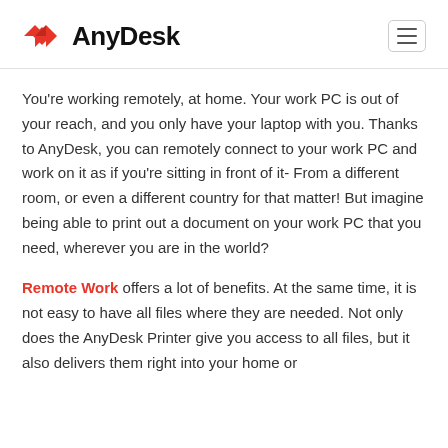AnyDesk
You're working remotely, at home. Your work PC is out of your reach, and you only have your laptop with you. Thanks to AnyDesk, you can remotely connect to your work PC and work on it as if you're sitting in front of it- From a different room, or even a different country for that matter! But imagine being able to print out a document on your work PC that you need, wherever you are in the world?
Remote Work offers a lot of benefits. At the same time, it is not easy to have all files where they are needed. Not only does the AnyDesk Printer give you access to all files, but it also delivers them right into your home or